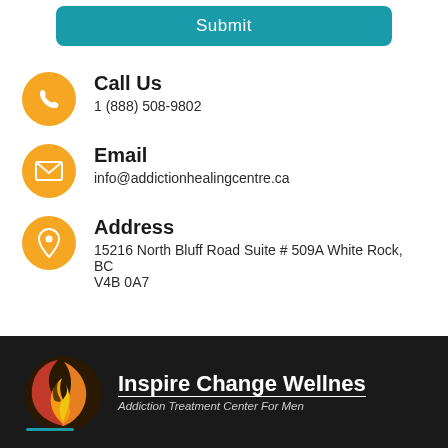[Figure (other): Teal Submit button at top of page]
Call Us
1 (888) 508-9802
Email
info@addictionhealingcentre.ca
Address
15216 North Bluff Road Suite # 509A White Rock, BC V4B 0A7
[Figure (logo): Inspire Change Wellness logo with swirl flame icon. Text reads: Inspire Change Wellnes, Addiction Treatment Center For Men]